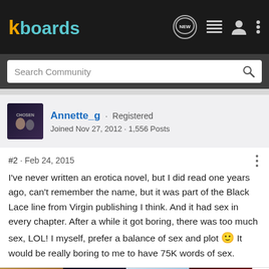kboards — NEW (icon) menu icon, user icon, more icon
Search Community
Annette_g · Registered
Joined Nov 27, 2012 · 1,556 Posts
#2 · Feb 24, 2015
I've never written an erotica novel, but I did read one years ago, can't remember the name, but it was part of the Black Lace line from Virgin publishing I think. And it had sex in every chapter. After a while it got boring, there was too much sex, LOL! I myself, prefer a balance of sex and plot 🙂 It would be really boring to me to have 75K words of sex.
[Figure (illustration): Row of book cover thumbnails at bottom of page including ANNETTE GISBY, THE (something), New Zealand, and another red/dark cover, with a right arrow]